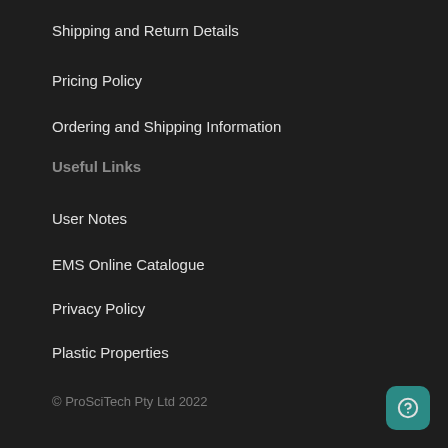Shipping and Return Details
Pricing Policy
Ordering and Shipping Information
Useful Links
User Notes
EMS Online Catalogue
Privacy Policy
Plastic Properties
© ProSciTech Pty Ltd 2022